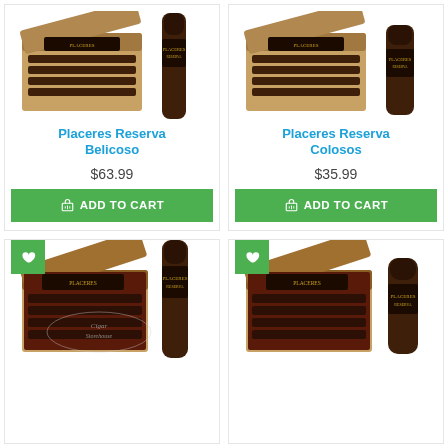[Figure (photo): Box of Placeres Reserva Belicoso cigars open with single cigar standing upright beside it]
Placeres Reserva Belicoso
$63.99
ADD TO CART
[Figure (photo): Box of Placeres Reserva Colosos cigars open with single cigar standing upright beside it]
Placeres Reserva Colosos
$35.99
ADD TO CART
[Figure (photo): Box of Placeres Reserva cigars open with single cigar standing upright, heart/wishlist button overlay, Cigar Storehouse watermark]
[Figure (photo): Box of Placeres Reserva cigars open with single shorter cigar standing beside it, heart/wishlist button overlay]